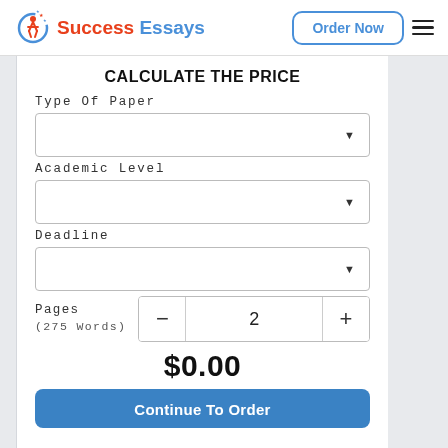[Figure (logo): Success Essays logo with red figure icon and blue/red text]
Order Now
CALCULATE THE PRICE
Type Of Paper
Academic Level
Deadline
Pages
(275 Words)
$0.00
Continue To Order